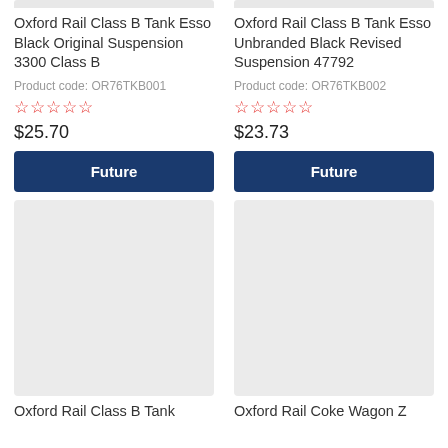[Figure (other): Product image placeholder - top gray bar for Oxford Rail Class B Tank Esso Black Original Suspension 3300 Class B]
Oxford Rail Class B Tank Esso Black Original Suspension 3300 Class B
Product code: OR76TKB001
☆☆☆☆☆
$25.70
Future
[Figure (other): Product image placeholder - top gray bar for Oxford Rail Class B Tank Esso Unbranded Black Revised Suspension 47792]
Oxford Rail Class B Tank Esso Unbranded Black Revised Suspension 47792
Product code: OR76TKB002
☆☆☆☆☆
$23.73
Future
[Figure (photo): Large gray placeholder image for Oxford Rail Class B Tank product]
Oxford Rail Class B Tank
[Figure (photo): Large gray placeholder image for Oxford Rail Coke Wagon Z product]
Oxford Rail Coke Wagon Z